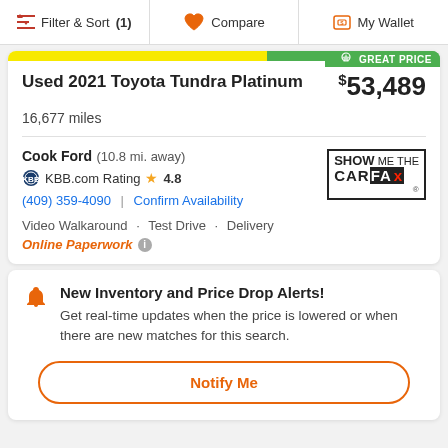Filter & Sort (1)  Compare  My Wallet
Used 2021 Toyota Tundra Platinum  $53,489
16,677 miles
Cook Ford  (10.8 mi. away)
KBB.com Rating  4.8
(409) 359-4090  |  Confirm Availability
Video Walkaround · Test Drive · Delivery
Online Paperwork
New Inventory and Price Drop Alerts!
Get real-time updates when the price is lowered or when there are new matches for this search.
Notify Me